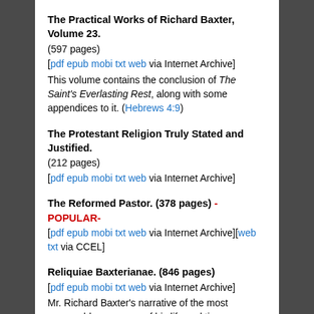The Practical Works of Richard Baxter, Volume 23. (597 pages) [pdf epub mobi txt web via Internet Archive] This volume contains the conclusion of The Saint's Everlasting Rest, along with some appendices to it. (Hebrews 4:9)
The Protestant Religion Truly Stated and Justified. (212 pages) [pdf epub mobi txt web via Internet Archive]
The Reformed Pastor. (378 pages) -POPULAR- [pdf epub mobi txt web via Internet Archive][web txt via CCEL]
Reliquiae Baxterianae. (846 pages) [pdf epub mobi txt web via Internet Archive] Mr. Richard Baxter's narrative of the most memorable passages of his life and times.